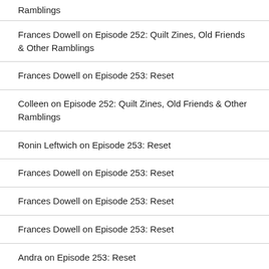Ramblings
Frances Dowell on Episode 252: Quilt Zines, Old Friends & Other Ramblings
Frances Dowell on Episode 253: Reset
Colleen on Episode 252: Quilt Zines, Old Friends & Other Ramblings
Ronin Leftwich on Episode 253: Reset
Frances Dowell on Episode 253: Reset
Frances Dowell on Episode 253: Reset
Frances Dowell on Episode 253: Reset
Andra on Episode 253: Reset
Patty on Episode 253: Reset